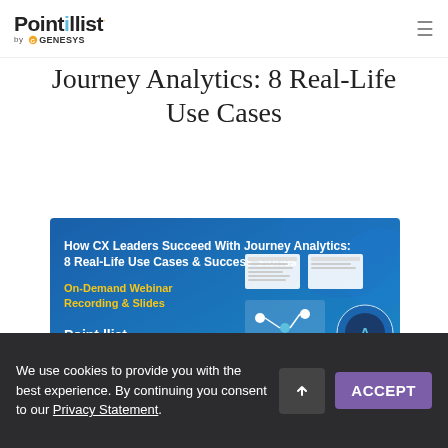Pointillist by Genesys
Journey Analytics: 8 Real-Life Use Cases
[Figure (screenshot): Webinar banner: 'How CX Leaders Succeed With Journey Analytics: 8 Real-Life Use Cases & Success Stories. On-Demand Webinar Recording & Slides. Pointillist. Chris Field, Director of Solutions Architecture, Pointillist. WATCH NOW button.']
We use cookies to provide you with the best experience. By continuing you consent to our Privacy Statement.